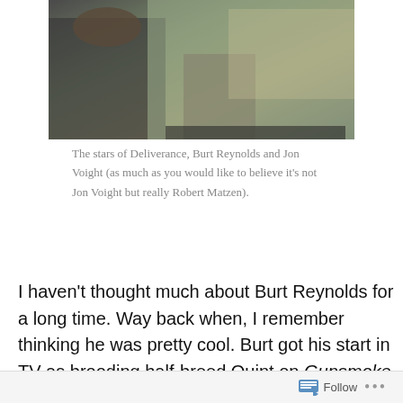[Figure (photo): Black and white/color photograph of two men standing together, partially cropped, one wearing a dark sleeveless top and the other wearing a light-colored jacket]
The stars of Deliverance, Burt Reynolds and Jon Voight (as much as you would like to believe it's not Jon Voight but really Robert Matzen).
I haven't thought much about Burt Reynolds for a long time. Way back when, I remember thinking he was pretty cool. Burt got his start in TV as brooding half-breed Quint on Gunsmoke and moved to his own detective TV show before hitting it big in Deliverance and then The Longest Yard. I remember liking him in this romantic western he